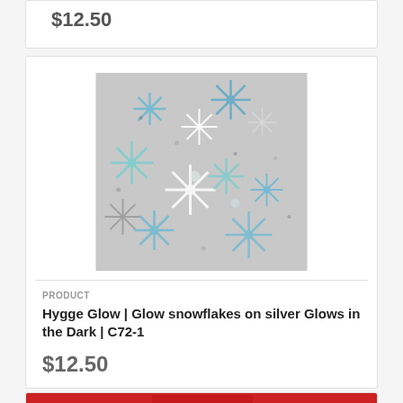$12.50
[Figure (photo): Snowflake pattern fabric on silver/grey background with blue, teal, and white snowflakes of various sizes — Hygge Glow glow-in-the-dark fabric]
PRODUCT
Hygge Glow | Glow snowflakes on silver Glows in the Dark | C72-1
$12.50
[Figure (photo): Partial view of a red fabric with holiday/floral pattern at the bottom of the page]